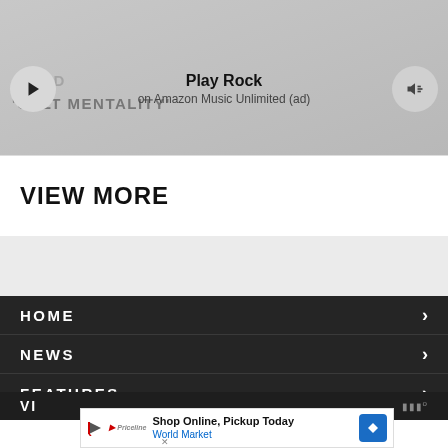[Figure (screenshot): Top banner image with gray gradient and partially visible text reading AVOID and 'CULT MENTALITY']
[Figure (other): Music player bar with play button, 'Play Rock' title, 'on Amazon Music Unlimited (ad)' subtitle, and volume icon]
VIEW MORE
HOME >
NEWS >
FEATURES >
REVIEWS >
[Figure (other): Bottom advertisement banner: Shop Online, Pickup Today - World Market with blue direction sign icon]